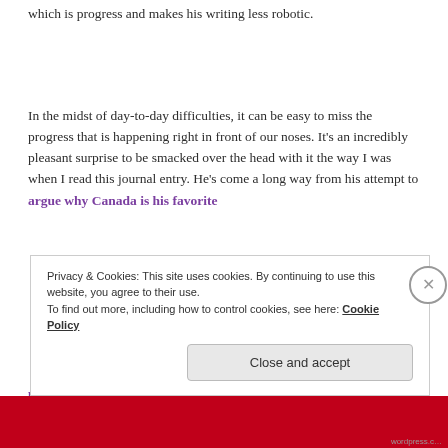which is progress and makes his writing less robotic.
In the midst of day-to-day difficulties, it can be easy to miss the progress that is happening right in front of our noses. It’s an incredibly pleasant surprise to be smacked over the head with it the way I was when I read this journal entry. He’s come a long way from his attempt to argue why Canada is his favorite place on earth.
Privacy & Cookies: This site uses cookies. By continuing to use this website, you agree to their use.
To find out more, including how to control cookies, see here: Cookie Policy
Close and accept